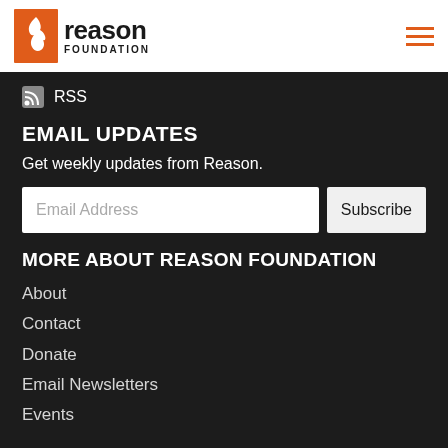[Figure (logo): Reason Foundation logo with orange flame icon and text 'reason FOUNDATION']
RSS
EMAIL UPDATES
Get weekly updates from Reason.
Email Address
Subscribe
MORE ABOUT REASON FOUNDATION
About
Contact
Donate
Email Newsletters
Events